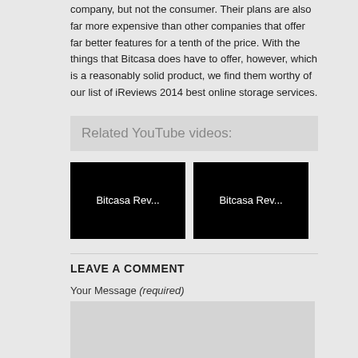company, but not the consumer. Their plans are also far more expensive than other companies that offer far better features for a tenth of the price. With the things that Bitcasa does have to offer, however, which is a reasonably solid product, we find them worthy of our list of iReviews 2014 best online storage services.
Related YouTube videos:
[Figure (screenshot): Black video thumbnail with white text reading 'Bitcasa Rev...']
[Figure (screenshot): Black video thumbnail with white text reading 'Bitcasa Rev...']
LEAVE A COMMENT
Your Message (required)
[Figure (other): Empty message input text area box with light gray background]